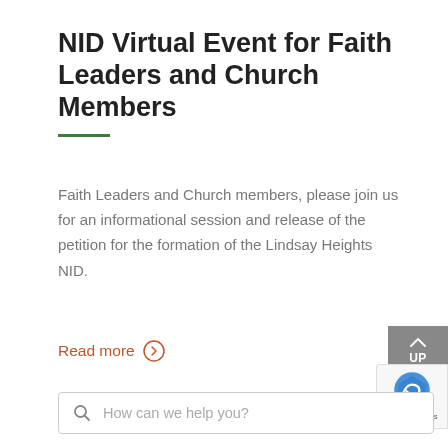NID Virtual Event for Faith Leaders and Church Members
Faith Leaders and Church members, please join us for an informational session and release of the petition for the formation of the Lindsay Heights NID.
Read more →
< Prev
How can we help you?